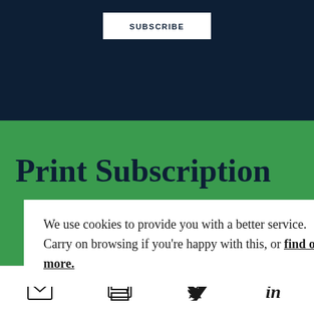SUBSCRIBE
Print Subscription
We use cookies to provide you with a better service. Carry on browsing if you're happy with this, or find out more.
Email | Print | Twitter | LinkedIn